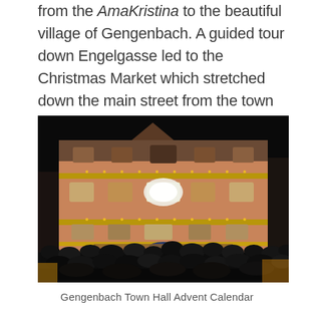from the AmaKristina to the beautiful village of Gengenbach. A guided tour down Engelgasse led to the Christmas Market which stretched down the main street from the town hall square.
[Figure (photo): Night-time photograph of the Gengenbach Town Hall decorated as an Advent calendar with illuminated windows and decorations, with a large crowd gathered in front of the building.]
Gengenbach Town Hall Advent Calendar